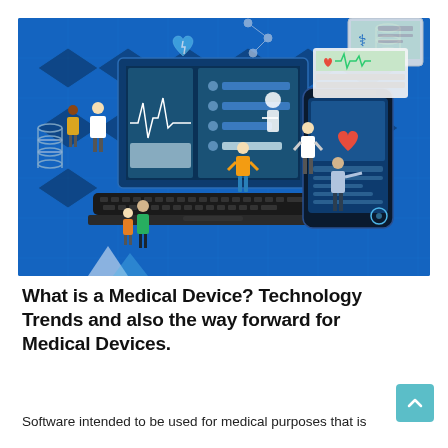[Figure (illustration): An isometric illustration showing a large laptop with medical dashboard on screen featuring a human figure outline, ECG waveform display, and data panels. Several figures stand around the laptop including doctors in white coats, patients, and a person interacting with a large smartphone displaying a heart/health monitoring app. DNA helixes, a broken heart icon, and other medical icons are scattered in the blue background. A medical tablet device is visible in the top right corner.]
What is a Medical Device? Technology Trends and also the way forward for Medical Devices.
Software intended to be used for medical purposes that is